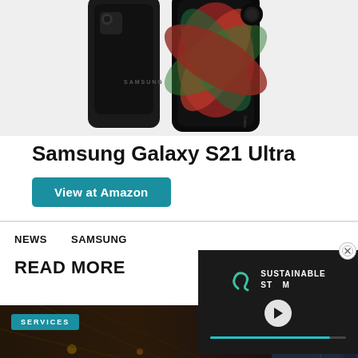[Figure (photo): Samsung Galaxy S21 Ultra smartphones shown from back — two phones, one showing the back with Samsung logo in dark phantom color, another showing a colorful abstract back panel]
Samsung Galaxy S21 Ultra
View at Amazon
NEWS   SAMSUNG
READ MORE
[Figure (screenshot): Video overlay showing Sustainable Steam logo with play button and progress bar on dark background]
SERVICES
[Figure (photo): Dark atmospheric photo of what appears to be an indoor venue or corridor with warm lighting]